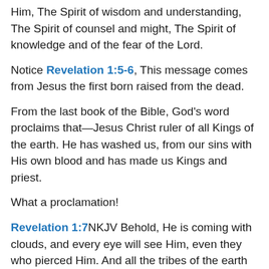Him, The Spirit of wisdom and understanding, The Spirit of counsel and might, The Spirit of knowledge and of the fear of the Lord.
Notice Revelation 1:5-6, This message comes from Jesus the first born raised from the dead.
From the last book of the Bible, God’s word proclaims that—Jesus Christ ruler of all Kings of the earth. He has washed us, from our sins with His own blood and has made us Kings and priest.
What a proclamation!
Revelation 1:7NKJV Behold, He is coming with clouds, and every eye will see Him, even they who pierced Him. And all the tribes of the earth will mourn because of Him. Even so, Amen.